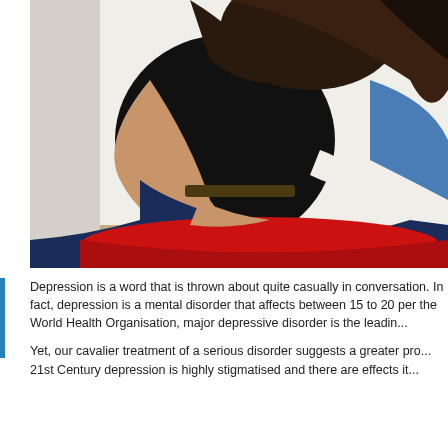[Figure (photo): A person with long dark hair sitting huddled against a white wall, wearing a black top and dark jeans, sitting on a red pillow/cushion. Another person in a blue shirt is partially visible. The pose suggests distress or depression.]
Depression is a word that is thrown about quite casually in conversation. In fact, depression is a mental disorder that affects between 15 to 20 per cent. the World Health Organisation, major depressive disorder is the leadin...
Yet, our cavalier treatment of a serious disorder suggests a greater pro... 21st Century depression is highly stigmatised and there are effects it...